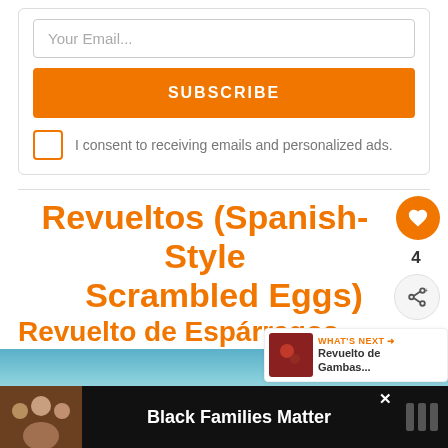Your Email...
SUBSCRIBE
I consent to receiving emails and personalized ads.
Revueltos (Spanish-Style Scrambled Eggs)
4
WHAT'S NEXT → Revuelto de Gambas...
Revuelto de Espárragos
Jamón Recipe / Scrambled
[Figure (photo): Food photo of scrambled eggs dish on blue background]
[Figure (photo): Advertisement banner: Black Families Matter with photo of family]
Black Families Matter